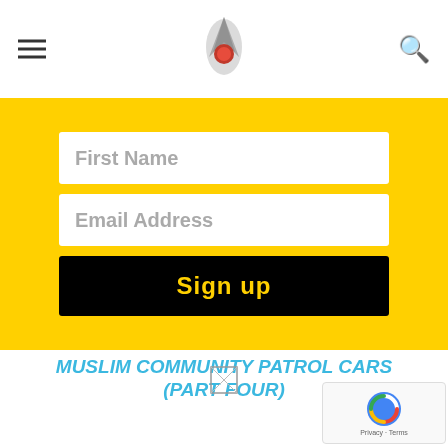First Name
Email Address
Sign up
MUSLIM COMMUNITY PATROL CARS (PART FOUR)
KEEP THOSE MUSLIM COMMUNITY PATROL CARS OFF AMERICAN STREETS (PART FIVE)
[Figure (other): Broken image placeholder icon]
[Figure (other): Google reCAPTCHA widget showing spinning logo with Privacy and Terms links]